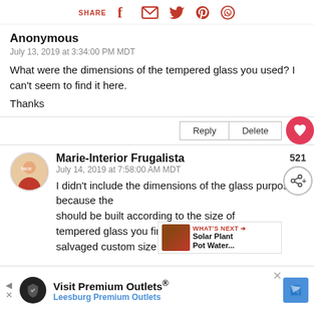SHARE [social icons: facebook, email, twitter, pinterest, whatsapp]
Anonymous
July 13, 2019 at 3:34:00 PM MDT
What were the dimensions of the tempered glass you used? I can't seem to find it here.
Thanks
Marie-Interior Frugalista
July 14, 2019 at 7:58:00 AM MDT
I didn't include the dimensions of the glass purposely because the should be built according to the size of tempered glass you find. Ours were salvaged custom size panels that would
WHAT'S NEXT → Solar Plant Pot Water...
Visit Premium Outlets® Leesburg Premium Outlets